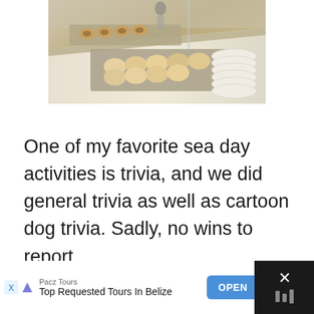[Figure (photo): A hotel or cruise ship buffet spread showing trays of bagels, rolls, and pastries on a marble counter. A staff member is visible in the background. Stacked white plates are visible on the right.]
One of my favorite sea day activities is trivia, and we did general trivia as well as cartoon dog trivia. Sadly, no wins to report.
[Figure (screenshot): Advertisement banner: Pacz Tours - Top Requested Tours In Belize - OPEN button. Dark background on sides with white center area. X close button on right.]